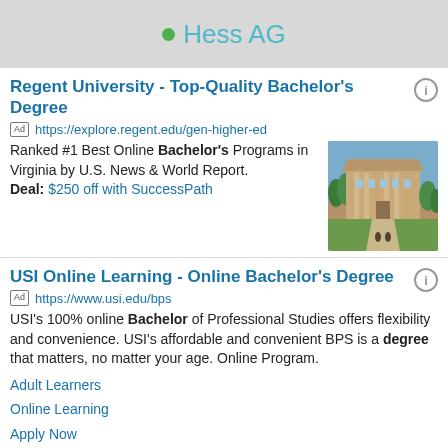[Figure (logo): Hess AG header with green dot and teal company name on gray background]
Regent University - Top-Quality Bachelor's Degree
Ad https://explore.regent.edu/gen-higher-ed
Ranked #1 Best Online Bachelor's Programs in Virginia by U.S. News & World Report.
Deal: $250 off with SuccessPath
[Figure (photo): Photo of Regent University building with classical architecture and greenery]
USI Online Learning - Online Bachelor's Degree
Ad https://www.usi.edu/bps
USI's 100% online Bachelor of Professional Studies offers flexibility and convenience. USI's affordable and convenient BPS is a degree that matters, no matter your age. Online Program.
Adult Learners
Online Learning
Apply Now
Request More Info